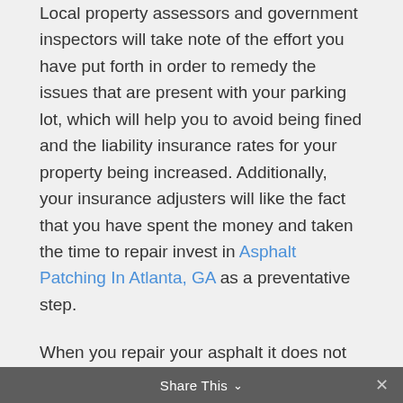Local property assessors and government inspectors will take note of the effort you have put forth in order to remedy the issues that are present with your parking lot, which will help you to avoid being fined and the liability insurance rates for your property being increased. Additionally, your insurance adjusters will like the fact that you have spent the money and taken the time to repair invest in Asphalt Patching In Atlanta, GA as a preventative step.
When you repair your asphalt it does not have to cost you a fortune. There are a number of paving services and companies that will provide you with a fair price, allowing you to have the area properly repaired.
Also, when you consider the big picture, this is a much less expensive option than paying for an attorney in any
Share This ×